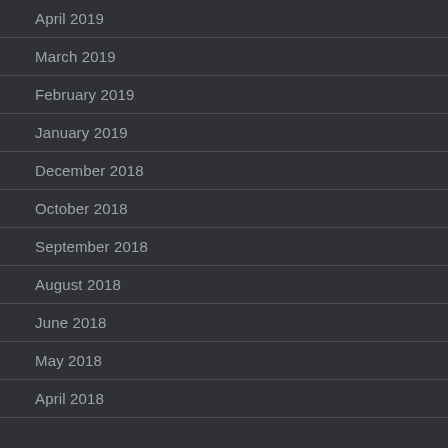April 2019
March 2019
February 2019
January 2019
December 2018
October 2018
September 2018
August 2018
June 2018
May 2018
April 2018